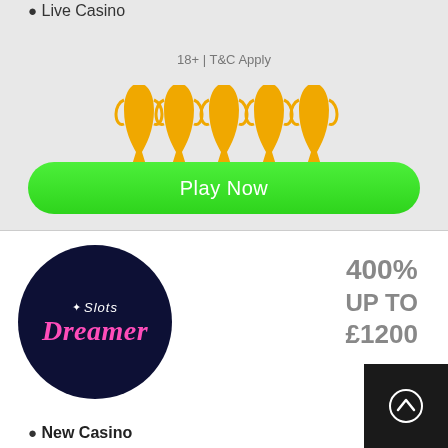Live Casino
18+ | T&C Apply
[Figure (illustration): Five gold trophy/award figurine icons in a row]
Play Now
[Figure (logo): Slots Dreamer casino logo — dark navy circle with 'Slots Dreamer' text in white and pink italic font]
400%
UP TO
£1200
[Figure (other): Dark square button with white upward arrow icon]
New Casino